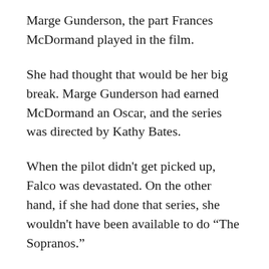Marge Gunderson, the part Frances McDormand played in the film.
She had thought that would be her big break. Marge Gunderson had earned McDormand an Oscar, and the series was directed by Kathy Bates.
When the pilot didn't get picked up, Falco was devastated. On the other hand, if she had done that series, she wouldn't have been available to do “The Sopranos.”
The experience has caused her to be more philosophic. “That taught me to sit back and let things happen the way they’re supposed to.”